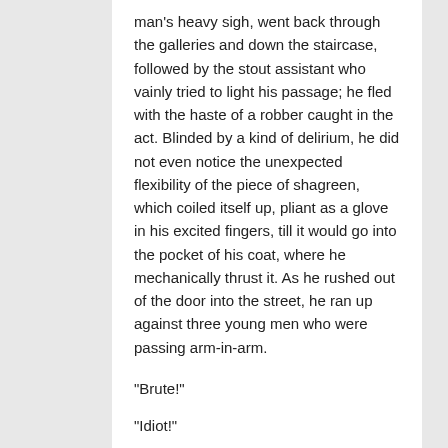man's heavy sigh, went back through the galleries and down the staircase, followed by the stout assistant who vainly tried to light his passage; he fled with the haste of a robber caught in the act. Blinded by a kind of delirium, he did not even notice the unexpected flexibility of the piece of shagreen, which coiled itself up, pliant as a glove in his excited fingers, till it would go into the pocket of his coat, where he mechanically thrust it. As he rushed out of the door into the street, he ran up against three young men who were passing arm-in-arm.
"Brute!"
"Idiot!"
Such were the gratifying expressions exchanged between them...